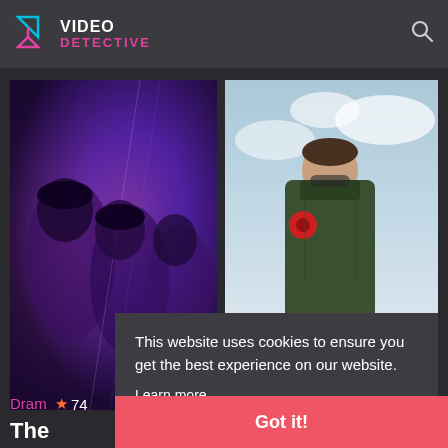VIDEO DETECTIVE
[Figure (screenshot): Left movie poster - Netflix drama with purple/violet toned romantic movie poster with multiple characters]
[Figure (screenshot): Right movie poster - Top Gun: Maverick with Tom Cruise in aviator sunglasses and green flight jacket against sky background]
The
Dram
74
This website uses cookies to ensure you get the best experience on our website.
Learn more
Got it!
Top Gun: Maverick